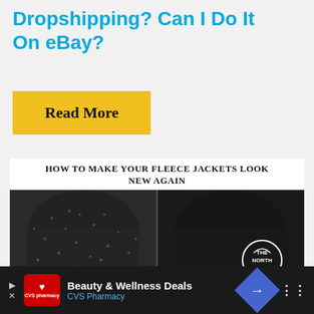Dropshipping? Can I Do It On eBay?
Read More
[Figure (photo): Before and after comparison photo of a black North Face fleece jacket. Left side shows a worn, pilled fleece; right side shows a clean, refreshed fleece with The North Face logo. Header text reads: HOW TO MAKE YOUR FLEECE JACKETS LOOK NEW AGAIN]
[Figure (screenshot): Advertisement bar at bottom: CVS Pharmacy - Beauty & Wellness Deals]